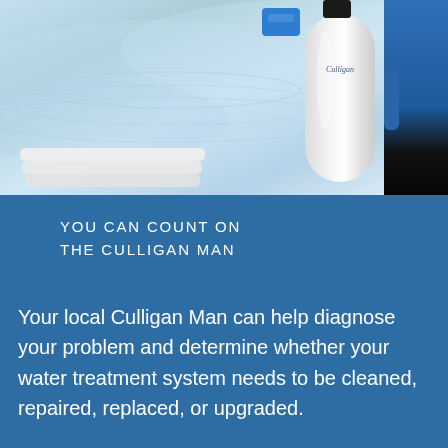[Figure (photo): Photo of a Culligan water softener tank being serviced by a technician in a blue shirt, with water ripple background and stacked white trays at bottom left]
YOU CAN COUNT ON THE CULLIGAN MAN
Your local Culligan Man can help diagnose your problem and determine whether your water treatment system needs to be cleaned, repaired, replaced, or upgraded.